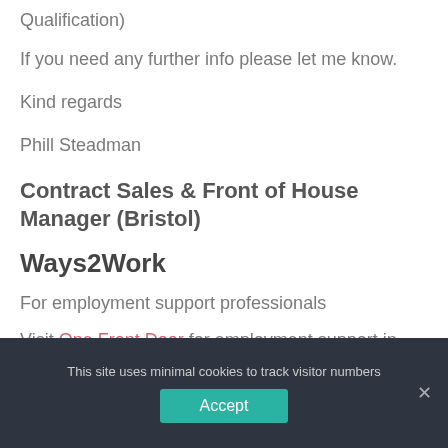Qualification)
If you need any further info please let me know.
Kind regards
Phill Steadman
Contract Sales & Front of House Manager (Bristol)
Ways2Work
For employment support professionals
Visit One Front Door for employment support in
This site uses minimal cookies to track visitor numbers
Accept